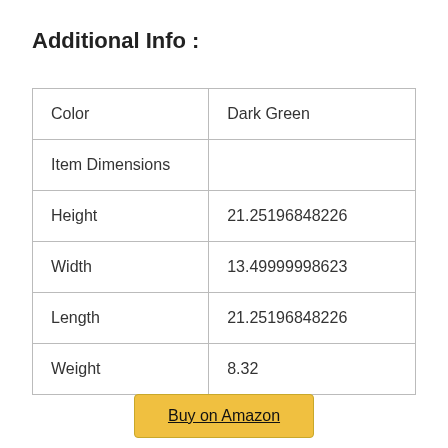Additional Info :
|  |  |
| --- | --- |
| Color | Dark Green |
| Item Dimensions |  |
| Height | 21.25196848226 |
| Width | 13.49999998623 |
| Length | 21.25196848226 |
| Weight | 8.32 |
Buy on Amazon